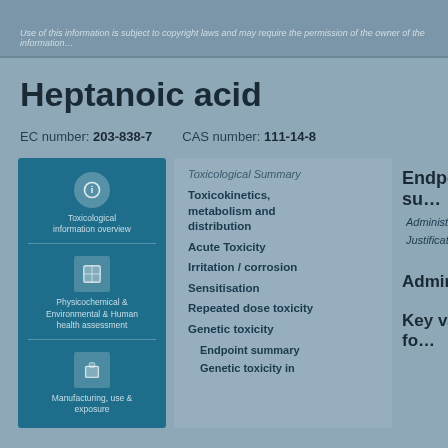Use of this information is subject to copyright laws and may require the permission…
Heptanoic acid
EC number: 203-838-7   CAS number: 111-14-8
[Figure (infographic): Teal panel with three icon blocks: top circle icon with text about toxicological information, middle square icon for physicochemical/environmental/human health assessment, bottom icon for manufacturing/use & exposure]
Toxicological Summary
Toxicokinetics, metabolism and distribution
Acute Toxicity
Irritation / corrosion
Sensitisation
Repeated dose toxicity
Genetic toxicity
Endpoint summary
Genetic toxicity in
Endpoint su…
Administration o…
Justification for…
Administrati…
Key value fo…